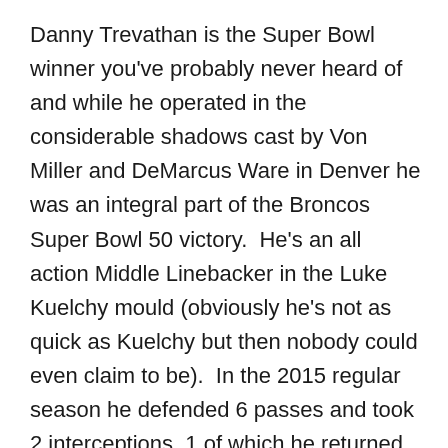Danny Trevathan is the Super Bowl winner you've probably never heard of and while he operated in the considerable shadows cast by Von Miller and DeMarcus Ware in Denver he was an integral part of the Broncos Super Bowl 50 victory.  He's an all action Middle Linebacker in the Luke Kuelchy mould (obviously he's not as quick as Kuelchy but then nobody could even claim to be).  In the 2015 regular season he defended 6 passes and took 2 interceptions, 1 of which he returned for a touchdown.  Those may not seem numbers worth getting excited about but when you consider that in Kuelchy's remarkable regular season he defended 6 passes and made 4 interceptions (and also returned 1 to the house) Trevathan's numbers look more than